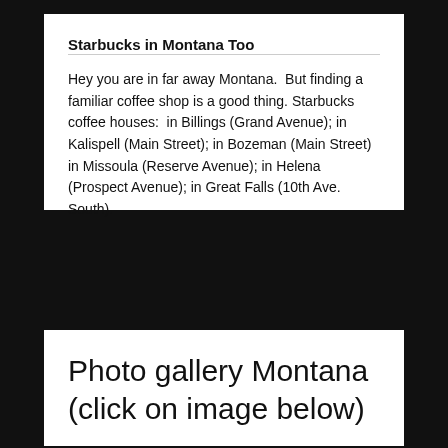Starbucks in Montana Too
Hey you are in far away Montana.  But finding a familiar coffee shop is a good thing. Starbucks coffee houses:  in Billings (Grand Avenue); in Kalispell (Main Street); in Bozeman (Main Street) in Missoula (Reserve Avenue); in Helena (Prospect Avenue); in Great Falls (10th Ave. South).
Photo gallery Montana (click on image below)